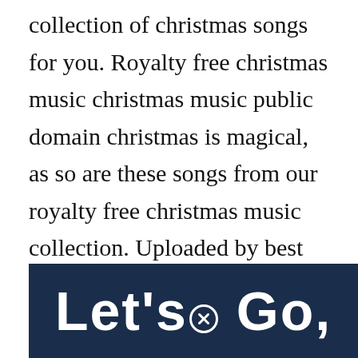and easy to use website that has a nice collection of christmas songs for you. Royalty free christmas music christmas music public domain christmas is magical, as so are these songs from our royalty free christmas music collection. Uploaded by best music 69 on december 3, 2017. Christmas background music is usually full of joy and sparkle, and can include public domain classic songs.
[Figure (other): Dark navy blue banner with large white bold text reading "Let's Go," with a circular close/X icon embedded in the text]